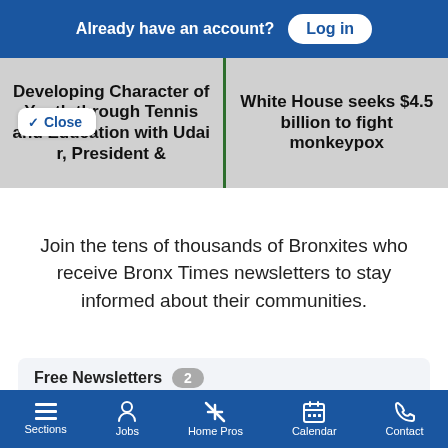Already have an account? Log in
Developing Character of Youth through Tennis and Education with Udai r, President &
White House seeks $4.5 billion to fight monkeypox
Close
Join the tens of thousands of Bronxites who receive Bronx Times newsletters to stay informed about their communities.
Free Newsletters 2
Bronx Times Daily Newsletter
Bronx Times Events
Sections Jobs Home Pros Calendar Contact